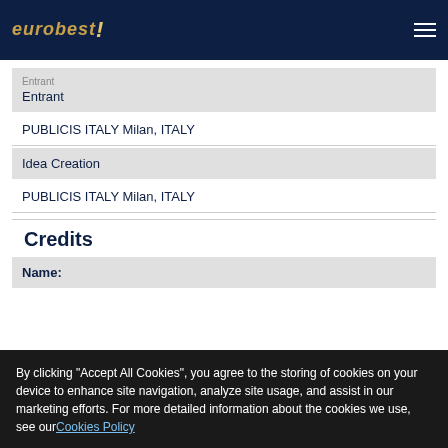eurobest
Entrant
PUBLICIS ITALY Milan, ITALY
Idea Creation
PUBLICIS ITALY Milan, ITALY
Credits
Name:
By clicking “Accept All Cookies”, you agree to the storing of cookies on your device to enhance site navigation, analyze site usage, and assist in our marketing efforts. For more detailed information about the cookies we use, see our Cookies Policy